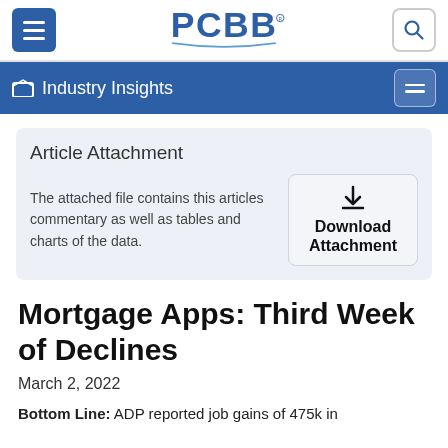PCBB — Industry Insights
Article Attachment
The attached file contains this articles commentary as well as tables and charts of the data.
Mortgage Apps: Third Week of Declines
March 2, 2022
Bottom Line:  ADP reported job gains of 475k in